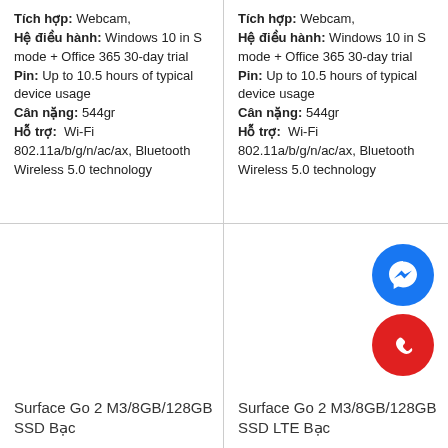Tích hợp: Webcam, Hệ điều hành: Windows 10 in S mode + Office 365 30-day trial Pin: Up to 10.5 hours of typical device usage Cân nặng: 544gr Hỗ trợ: Wi-Fi 802.11a/b/g/n/ac/ax, Bluetooth Wireless 5.0 technology
Tích hợp: Webcam, Hệ điều hành: Windows 10 in S mode + Office 365 30-day trial Pin: Up to 10.5 hours of typical device usage Cân nặng: 544gr Hỗ trợ: Wi-Fi 802.11a/b/g/n/ac/ax, Bluetooth Wireless 5.0 technology
Surface Go 2 M3/8GB/128GB SSD Bạc
[Figure (illustration): Facebook Messenger icon (blue circle with lightning bolt) and phone call icon (red circle with phone handset)]
Surface Go 2 M3/8GB/128GB SSD LTE Bạc